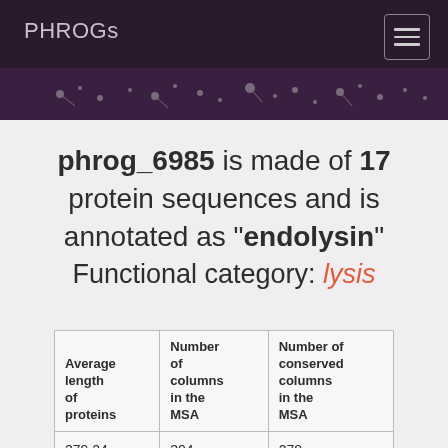PHROGs
phrog_6985 is made of 17 protein sequences and is annotated as "endolysin"
Functional category: lysis
| Average length of proteins | Number of columns in the MSA | Number of conserved columns in the MSA |
| --- | --- | --- |
| 279.24 | 304 | 278 |